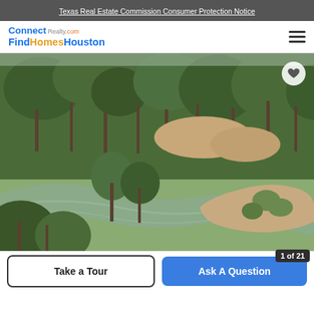Texas Real Estate Commission Consumer Protection Notice
[Figure (logo): Connect Realty.com FindHomesHouston logo]
[Figure (photo): Aerial photo of a wooded property with a winding river or creek surrounded by tall pine trees and a sandy/dirt peninsula]
Take a Tour
Ask A Question
1 of 21